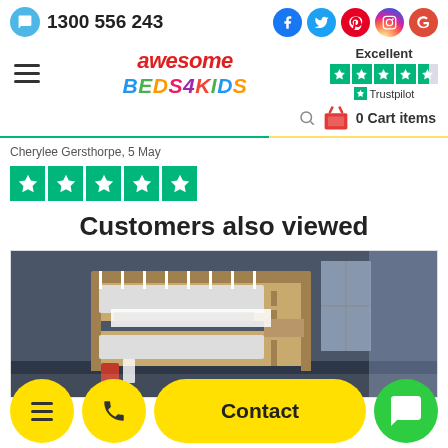1300 556 243 | Social: Facebook, Twitter, Pinterest, Instagram, Google+
[Figure (logo): Awesome Beds4Kids logo with hamburger menu and Trustpilot rating (Excellent, 4.5 stars)]
0 Cart items
Cherylee Gersthorpe, 5 May
[Figure (illustration): Five green Trustpilot stars (review rating)]
Customers also viewed
[Figure (photo): Bunk bed product photo in a styled room setting]
Contact